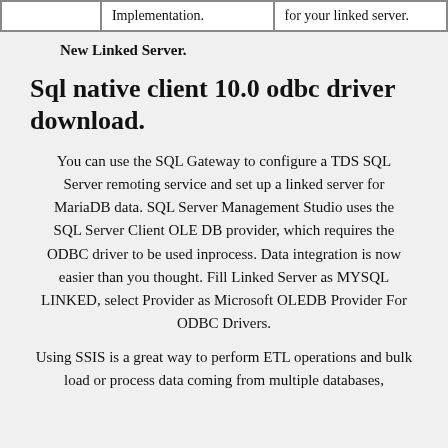|  | Implementation. | for your linked server. |
| --- | --- | --- |
|  | Implementation. | for your linked server. |
New Linked Server.
Sql native client 10.0 odbc driver download.
You can use the SQL Gateway to configure a TDS SQL Server remoting service and set up a linked server for MariaDB data. SQL Server Management Studio uses the SQL Server Client OLE DB provider, which requires the ODBC driver to be used inprocess. Data integration is now easier than you thought. Fill Linked Server as MYSQL LINKED, select Provider as Microsoft OLEDB Provider For ODBC Drivers.
Using SSIS is a great way to perform ETL operations and bulk load or process data coming from multiple databases,